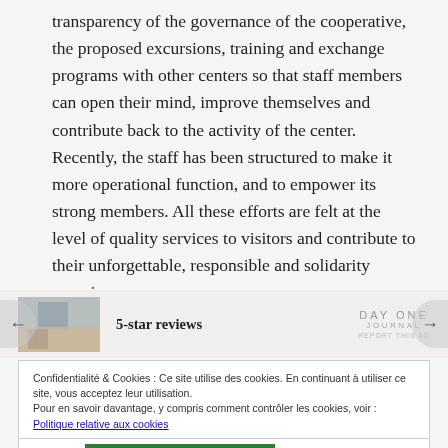transparency of the governance of the cooperative, the proposed excursions, training and exchange programs with other centers so that staff members can open their mind, improve themselves and contribute back to the activity of the center. Recently, the staff has been structured to make it more operational function, and to empower its strong members. All these efforts are felt at the level of quality services to visitors and contribute to their unforgettable, responsible and solidarity experience.
[Figure (other): Advertisement bar with small photo thumbnail on left, bold text '5-star reviews' in center, and 'DAY ONE JOURNAL' logo with 'REPORT THIS AD' on right. Navigation arrows visible on left and right edges.]
Confidentialité & Cookies : Ce site utilise des cookies. En continuant à utiliser ce site, vous acceptez leur utilisation.
Pour en savoir davantage, y compris comment contrôler les cookies, voir : Politique relative aux cookies
Fermer et accepter